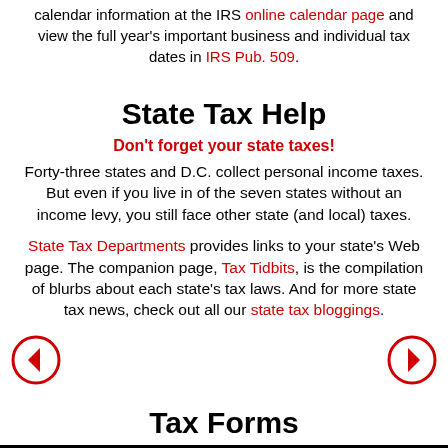calendar information at the IRS online calendar page and view the full year's important business and individual tax dates in IRS Pub. 509.
State Tax Help
Don't forget your state taxes!
Forty-three states and D.C. collect personal income taxes. But even if you live in of the seven states without an income levy, you still face other state (and local) taxes.
State Tax Departments provides links to your state's Web page. The companion page, Tax Tidbits, is the compilation of blurbs about each state's tax laws. And for more state tax news, check out all our state tax bloggings.
Tax Forms